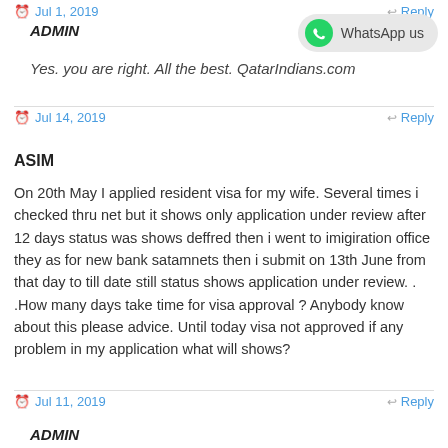Jul 1, 2019   Reply
ADMIN
[Figure (other): WhatsApp us button with green WhatsApp icon]
Yes. you are right. All the best. QatarIndians.com
Jul 14, 2019   Reply
ASIM
On 20th May I applied resident visa for my wife. Several times i checked thru net but it shows only application under review after 12 days status was shows deffred then i went to imigiration office they as for new bank satamnets then i submit on 13th June from that day to till date still status shows application under review. . .How many days take time for visa approval ? Anybody know about this please advice. Until today visa not approved if any problem in my application what will shows?
Jul 11, 2019   Reply
ADMIN